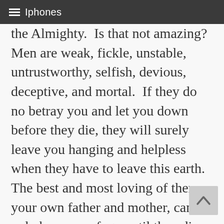Iphones
the Almighty.  Is that not amazing?  Men are weak, fickle, unstable, untrustworthy, selfish, devious, deceptive, and mortal.  If they do no betray you and let you down before they die, they will surely leave you hanging and helpless when they have to leave this earth.  The best and most loving of them, your own father and mother, can only be your refuge until they die.  And notwithstanding the advances made by the health-care community, deadly disease is still